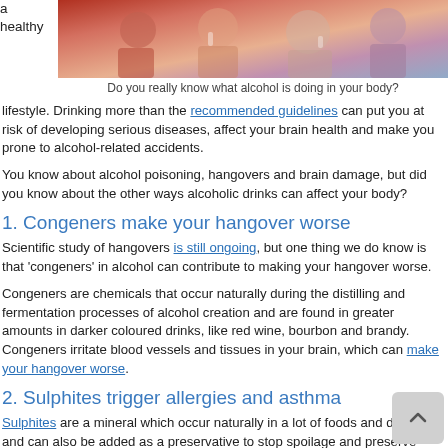a healthy
[Figure (photo): People socializing with drinks at a gathering]
Do you really know what alcohol is doing in your body?
lifestyle. Drinking more than the recommended guidelines can put you at risk of developing serious diseases, affect your brain health and make you prone to alcohol-related accidents.
You know about alcohol poisoning, hangovers and brain damage, but did you know about the other ways alcoholic drinks can affect your body?
1. Congeners make your hangover worse
Scientific study of hangovers is still ongoing, but one thing we do know is that 'congeners' in alcohol can contribute to making your hangover worse.
Congeners are chemicals that occur naturally during the distilling and fermentation processes of alcohol creation and are found in greater amounts in darker coloured drinks, like red wine, bourbon and brandy. Congeners irritate blood vessels and tissues in your brain, which can make your hangover worse.
2. Sulphites trigger allergies and asthma
Sulphites are a mineral which occur naturally in a lot of foods and drinks, and can also be added as a preservative to stop spoilage and preserve colour.